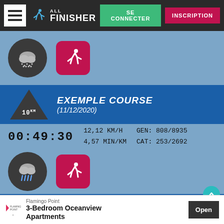ALL FINISHER — SE CONNECTER — INSCRIPTION
[Figure (screenshot): Weather icon (cloud/snow) in dark circle and running icon in pink rounded square on light blue background]
EXEMPLE COURSE (11/12/2020) — 10KM
00:49:30  12,12 KM/H  4,57 MIN/KM  GEN: 808/8935  CAT: 253/2692
[Figure (screenshot): Weather icon (cloud with rain) in dark circle and running icon in pink rounded square on light blue background]
Flamingo Point 3-Bedroom Oceanview Apartments Open